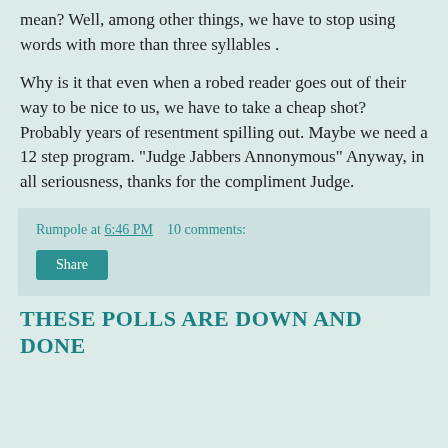mean? Well, among other things, we have to stop using words with more than three syllables .
Why is it that even when a robed reader goes out of their way to be nice to us, we have to take a cheap shot? Probably years of resentment spilling out. Maybe we need a 12 step program. "Judge Jabbers Annonymous" Anyway, in all seriousness, thanks for the compliment Judge.
Rumpole at 6:46 PM    10 comments:
Share
THESE POLLS ARE DOWN AND DONE